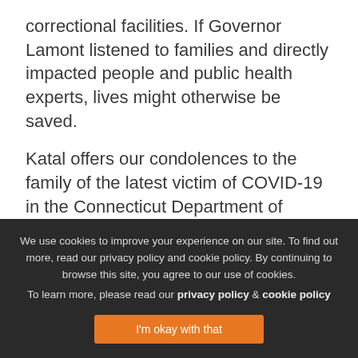correctional facilities.  If Governor Lamont listened to families and directly impacted people and public health experts, lives might otherwise be saved.
Katal offers our condolences to the family of the latest victim of COVID-19 in the Connecticut Department of Corrections. Without action from the Lamont Administration, it is clear there will be more needless and preventable deaths. And given that Black and Latinx communities are being hit particularly hard by COVID-19 and are also…
We use cookies to improve your experience on our site. To find out more, read our privacy policy and cookie policy. By continuing to browse this site, you agree to our use of cookies. To learn more, please read our privacy policy & cookie policy